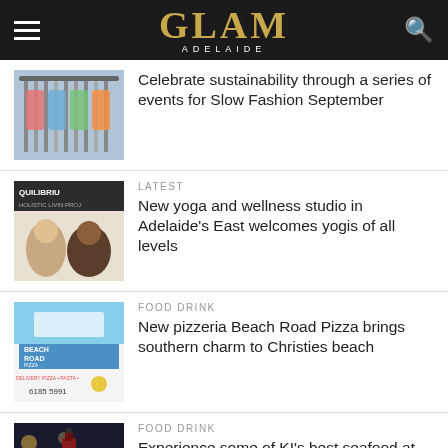GLAM ADELAIDE
[Figure (photo): Clothing rack with colorful garments on hangers]
Celebrate sustainability through a series of events for Slow Fashion September
[Figure (photo): Two women at Equilibrium Holistic Living Project]
LATEST
New yoga and wellness studio in Adelaide's East welcomes yogis of all levels
[Figure (photo): Beach Road Pizza storefront sign]
FOOD DRINK
New pizzeria Beach Road Pizza brings southern charm to Christies beach
[Figure (photo): Wine bottle with bokeh lights in background]
FOOD DRINK
Experience some of KI's best seafood at Magill's newest cellar door